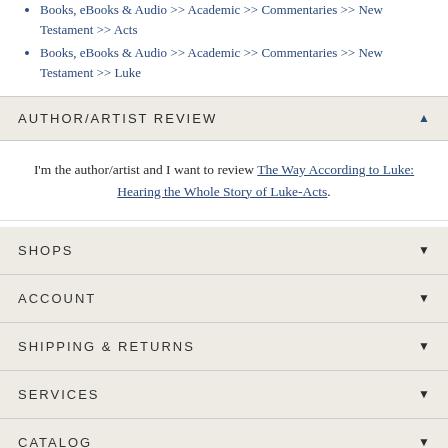Books, eBooks & Audio >> Academic >> Commentaries >> New Testament >> Acts
Books, eBooks & Audio >> Academic >> Commentaries >> New Testament >> Luke
AUTHOR/ARTIST REVIEW
I'm the author/artist and I want to review The Way According to Luke: Hearing the Whole Story of Luke-Acts.
SHOPS
ACCOUNT
SHIPPING & RETURNS
SERVICES
CATALOG